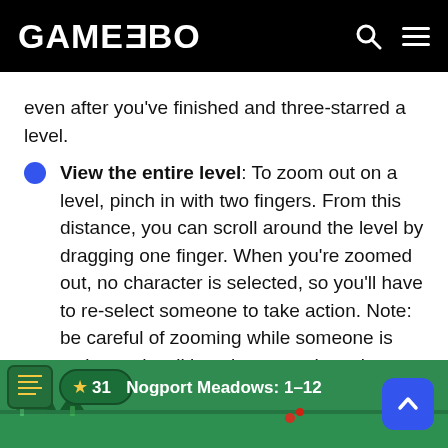GAMEZEBO
even after you've finished and three-starred a level.
View the entire level: To zoom out on a level, pinch in with two fingers. From this distance, you can scroll around the level by dragging one finger. When you're zoomed out, no character is selected, so you'll have to re-select someone to take action. Note: be careful of zooming while someone is active and walking along a path you've drawn. It will cancel their walk.
[Figure (screenshot): Screenshot of a mobile game UI showing 'Nogport Meadows: 1-12' level title on a green background with a map icon and star count of 31]